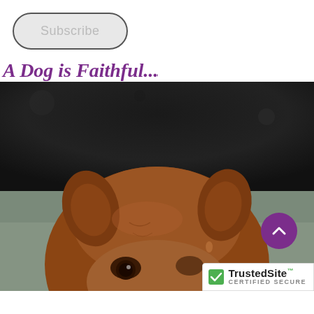Subscribe
A Dog is Faithful...
[Figure (photo): Close-up photo of a brown/reddish dog's head and ears against a blurred bokeh background, showing the top of the dog's face and eyes.]
[Figure (other): Purple circular back-to-top button with upward chevron arrow]
[Figure (logo): TrustedSite certified secure badge with green checkmark]